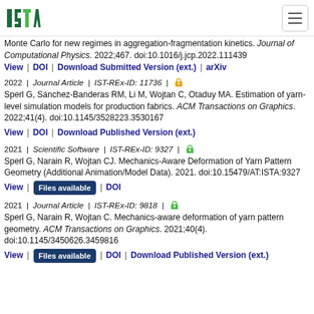ISTA logo and navigation
Monte Carlo for new regimes in aggregation-fragmentation kinetics. Journal of Computational Physics. 2022;467. doi:10.1016/j.jcp.2022.111439
View | DOI | Download Submitted Version (ext.) | arXiv
2022 | Journal Article | IST-REx-ID: 11736 | [open access]
Sperl G, Sánchez-Banderas RM, Li M, Wojtan C, Otaduy MA. Estimation of yarn-level simulation models for production fabrics. ACM Transactions on Graphics. 2022;41(4). doi:10.1145/3528223.3530167
View | DOI | Download Published Version (ext.)
2021 | Scientific Software | IST-REx-ID: 9327 | [open access]
Sperl G, Narain R, Wojtan CJ. Mechanics-Aware Deformation of Yarn Pattern Geometry (Additional Animation/Model Data). 2021. doi:10.15479/AT:ISTA:9327
View | Files available | DOI
2021 | Journal Article | IST-REx-ID: 9818 | [open access]
Sperl G, Narain R, Wojtan C. Mechanics-aware deformation of yarn pattern geometry. ACM Transactions on Graphics. 2021;40(4). doi:10.1145/3450626.3459816
View | Files available | DOI | Download Published Version (ext.)